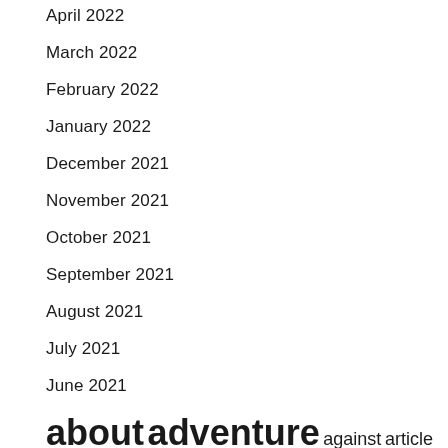April 2022
March 2022
February 2022
January 2022
December 2021
November 2021
October 2021
September 2021
August 2021
July 2021
June 2021
about adventure against article